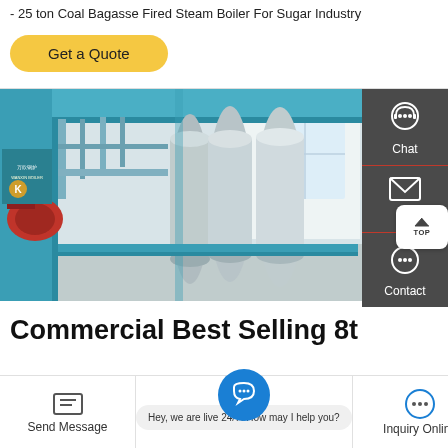- 25 ton Coal Bagasse Fired Steam Boiler For Sugar Industry
Get a Quote
[Figure (photo): Industrial steam boiler inside a factory building. A large blue cylindrical boiler with Chinese branding (万欣锅炉) visible, connected to pipes and blue structural framework. Industrial setting with white walls and windows.]
Chat
Email
Contact
Commercial Best Selling 8t
Send Message
Hey, we are live 24/7. How may I help you?
Inquiry Online